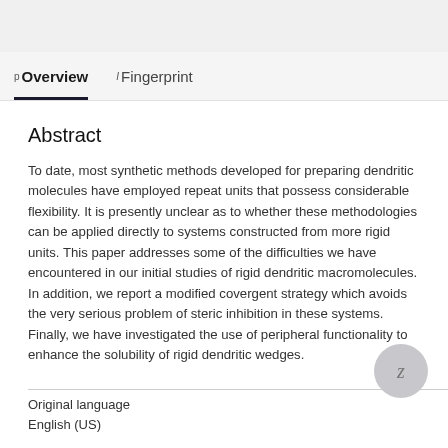p Overview   I Fingerprint
Abstract
To date, most synthetic methods developed for preparing dendritic molecules have employed repeat units that possess considerable flexibility. It is presently unclear as to whether these methodologies can be applied directly to systems constructed from more rigid units. This paper addresses some of the difficulties we have encountered in our initial studies of rigid dendritic macromolecules. In addition, we report a modified covergent strategy which avoids the very serious problem of steric inhibition in these systems. Finally, we have investigated the use of peripheral functionality to enhance the solubility of rigid dendritic wedges.
Original language
English (US)